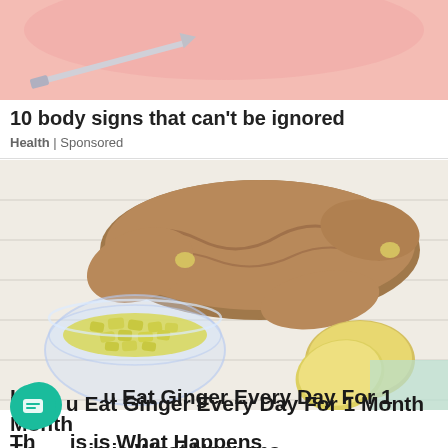[Figure (photo): Top portion of a medical/health advertisement image showing a pink/skin toned background with a needle or medical instrument]
10 body signs that can't be ignored
Health | Sponsored
[Figure (photo): Photo of fresh ginger root pieces on a white wooden surface, with a glass bowl of chopped ginger in the foreground]
If You Eat Ginger Every Day For 1 Month This is What Happens